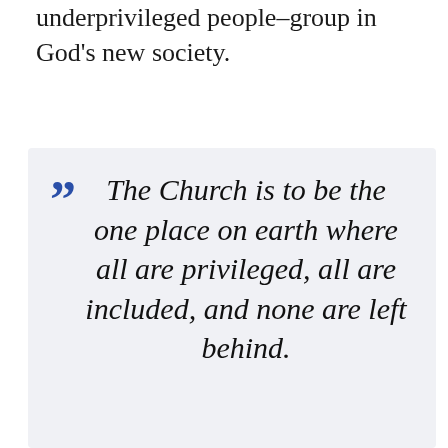underprivileged people-group in God's new society.
The Church is to be the one place on earth where all are privileged, all are included, and none are left behind.